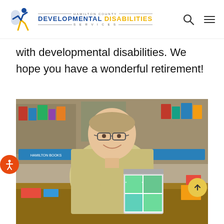Hamilton County Developmental Disabilities Services
with developmental disabilities. We hope you have a wonderful retirement!
[Figure (photo): A smiling middle-aged man with glasses wearing a light yellow plaid shirt, standing behind a counter in what appears to be a store or gift shop, with his hand on a decorated tin can. Store shelves with merchandise are visible in the background.]